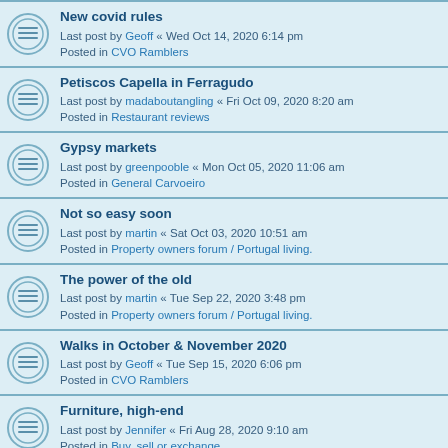New covid rules
Last post by Geoff « Wed Oct 14, 2020 6:14 pm
Posted in CVO Ramblers
Petiscos Capella in Ferragudo
Last post by madaboutangling « Fri Oct 09, 2020 8:20 am
Posted in Restaurant reviews
Gypsy markets
Last post by greenpooble « Mon Oct 05, 2020 11:06 am
Posted in General Carvoeiro
Not so easy soon
Last post by martin « Sat Oct 03, 2020 10:51 am
Posted in Property owners forum / Portugal living.
The power of the old
Last post by martin « Tue Sep 22, 2020 3:48 pm
Posted in Property owners forum / Portugal living.
Walks in October & November 2020
Last post by Geoff « Tue Sep 15, 2020 6:06 pm
Posted in CVO Ramblers
Furniture, high-end
Last post by Jennifer « Fri Aug 28, 2020 9:10 am
Posted in Buy, sell or exchange
Furniture
Last post by Jennifer « Fri Aug 28, 2020 9:09 am
Posted in Buy, sell or exchange
Table tennis table and pool table WANTED
Last post by maccasa « Wed Aug 05, 2020 10:47 am